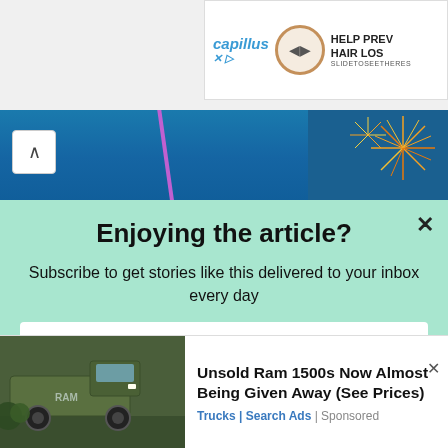[Figure (screenshot): Capillus advertisement banner showing logo, circular device icon, and text 'HELP PREV HAIR LOS SLIDETOSEETHERES']
[Figure (photo): Background image strip showing night sky with purple arc structure and fireworks on the right side]
Enjoying the article?
Subscribe to get stories like this delivered to your inbox every day
[Figure (screenshot): Email input field with placeholder text 'Enter your email' and a Subscribe button below]
[Figure (photo): Bottom advertisement showing a Ram 1500 truck image on the left]
Unsold Ram 1500s Now Almost Being Given Away (See Prices)
Trucks | Search Ads | Sponsored